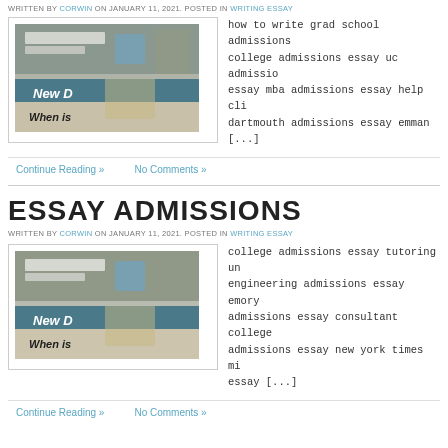WRITTEN BY CORWIN ON JANUARY 11, 2021. POSTED IN WRITING ESSAY
[Figure (photo): Stack of newspapers on a desk]
how to write grad school admissions college admissions essay uc admissions essay mba admissions essay help cli dartmouth admissions essay emman [...]
Continue Reading »   No Comments »
ESSAY ADMISSIONS
WRITTEN BY CORWIN ON JANUARY 11, 2021. POSTED IN WRITING ESSAY
[Figure (photo): Stack of newspapers on a desk]
college admissions essay tutoring un engineering admissions essay emory admissions essay consultant college admissions essay new york times mi essay [...]
Continue Reading »   No Comments »